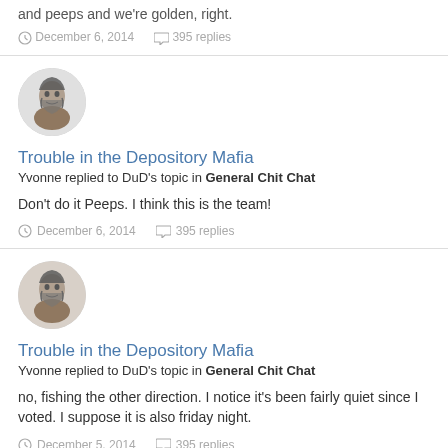and peeps and we're golden, right.
December 6, 2014   395 replies
[Figure (illustration): Circular avatar image of a person, black and white sketch style]
Trouble in the Depository Mafia
Yvonne replied to DuD's topic in General Chit Chat
Don't do it Peeps. I think this is the team!
December 6, 2014   395 replies
[Figure (illustration): Circular avatar image of a person, black and white sketch style]
Trouble in the Depository Mafia
Yvonne replied to DuD's topic in General Chit Chat
no, fishing the other direction. I notice it's been fairly quiet since I voted. I suppose it is also friday night.
December 5, 2014   395 replies